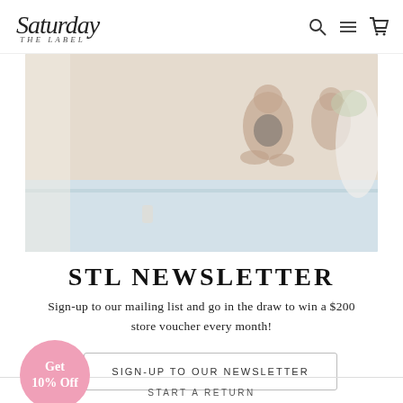Saturday The Label — logo, search, menu, cart icons
[Figure (photo): Lifestyle photo of women relaxing by a pool in swimwear, faded/light-washed tone]
STL NEWSLETTER
Sign-up to our mailing list and go in the draw to win a $200 store voucher every month!
Get 10% Off
SIGN-UP TO OUR NEWSLETTER
START A RETURN